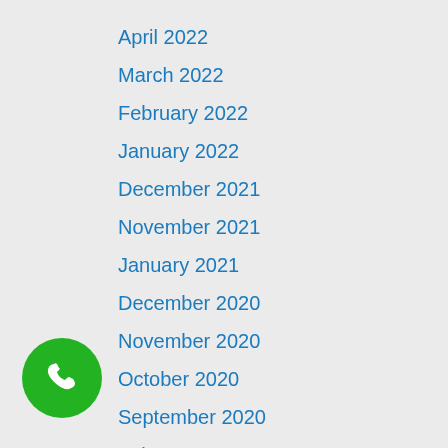April 2022
March 2022
February 2022
January 2022
December 2021
November 2021
January 2021
December 2020
November 2020
October 2020
September 2020
February 2020
January 2020
December 2018
November 2018